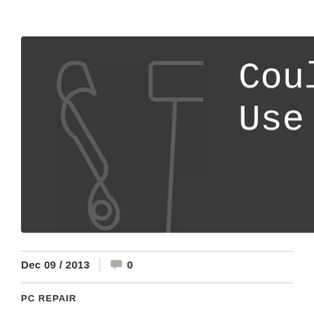[Figure (illustration): Dark gray banner with tool icons (wrench, hammer, screwdriver) on the left side and white monospaced text 'Could Y... Use a Tu...' on the right with an orange button labeled 'Con...']
Dec 09 / 2013  |  💬 0
PC REPAIR